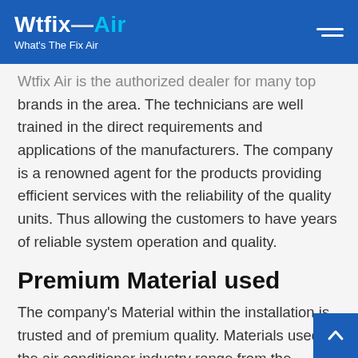Wtfix Air — What's The Fix Air
Wtfix Air is the authorized dealer for many top brands in the area. The technicians are well trained in the direct requirements and applications of the manufacturers. The company is a renowned agent for the products providing efficient services with the reliability of the quality units. Thus allowing the customers to have years of reliable system operation and quality.
Premium Material used
The company's Material within the installation is trusted and of premium quality. Materials used in the air conditioner industry range from the budget